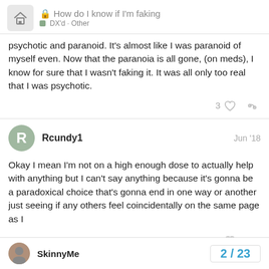How do I know if I'm faking — DX'd · Other
psychotic and paranoid. It's almost like I was paranoid of myself even. Now that the paranoia is all gone, (on meds), I know for sure that I wasn't faking it. It was all only too real that I was psychotic.
Rcundy1  Jun '18
Okay I mean I'm not on a high enough dose to actually help with anything but I can't say anything because it's gonna be a paradoxical choice that's gonna end in one way or another just seeing if any others feel coincidentally on the same page as I
SkinnyMe
2 / 23